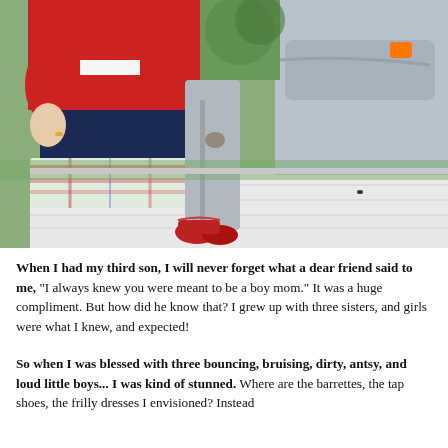[Figure (photo): Close-up photograph of people sitting on a bench outdoors. A person in a red sweater and dark jeans sits on the left with a plaid blanket, a child in gray pants with red shoes stands in the middle, and a person in gray pants sits on the right. Grass visible in background.]
When I had my third son, I will never forget what a dear friend said to me, "I always knew you were meant to be a boy mom." It was a huge compliment. But how did he know that? I grew up with three sisters, and girls were what I knew, and expected!
So when I was blessed with three bouncing, bruising, dirty, antsy, and loud little boys... I was kind of stunned. Where are the barrettes, the tap shoes, the frilly dresses I envisioned? Instead